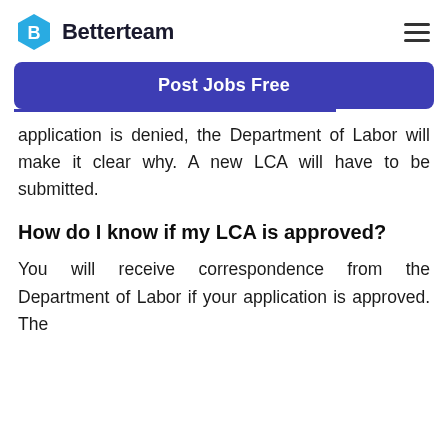Betterteam
Post Jobs Free
application is denied, the Department of Labor will make it clear why. A new LCA will have to be submitted.
How do I know if my LCA is approved?
You will receive correspondence from the Department of Labor if your application is approved. The